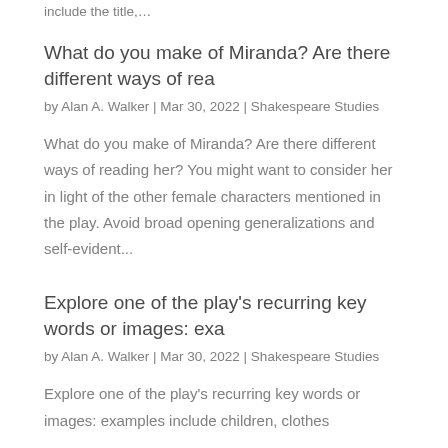include the title,…
What do you make of Miranda? Are there different ways of rea
by Alan A. Walker | Mar 30, 2022 | Shakespeare Studies
What do you make of Miranda? Are there different ways of reading her? You might want to consider her in light of the other female characters mentioned in the play. Avoid broad opening generalizations and self-evident...
Explore one of the play's recurring key words or images: exa
by Alan A. Walker | Mar 30, 2022 | Shakespeare Studies
Explore one of the play's recurring key words or images: examples include children, clothes